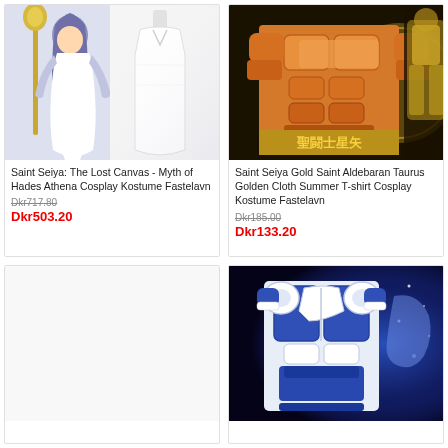[Figure (photo): Saint Seiya anime character in white robes and product photo of white sleeveless dress cosplay costume]
Saint Seiya: The Lost Canvas - Myth of Hades Athena Cosplay Kostume Fastelavn
Dkr717.80
Dkr503.20
[Figure (photo): Saint Seiya Gold Saint Aldebaran Taurus golden armor t-shirt cosplay costume product photo with anime character]
Saint Seiya Gold Saint Aldebaran Taurus Golden Cloth Summer T-shirt Cosplay Kostume Fastelavn
Dkr185.00
Dkr133.20
[Figure (photo): Empty product card with white background (bottom left)]
[Figure (photo): Blue and white Saint Seiya armor t-shirt cosplay costume with anime action background]